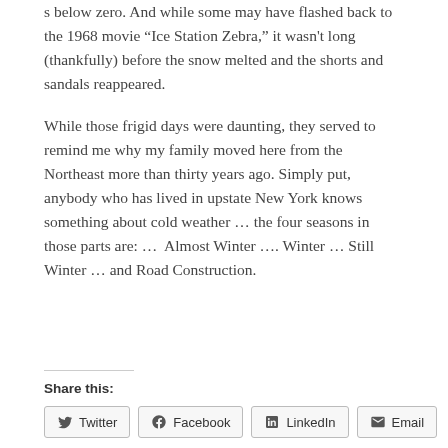s below zero. And while some may have flashed back to the 1968 movie “Ice Station Zebra,” it wasn't long (thankfully) before the snow melted and the shorts and sandals reappeared.
While those frigid days were daunting, they served to remind me why my family moved here from the Northeast more than thirty years ago. Simply put, anybody who has lived in upstate New York knows something about cold weather … the four seasons in those parts are: …  Almost Winter …. Winter … Still Winter … and Road Construction.
Share this:
Twitter  Facebook  LinkedIn  Email